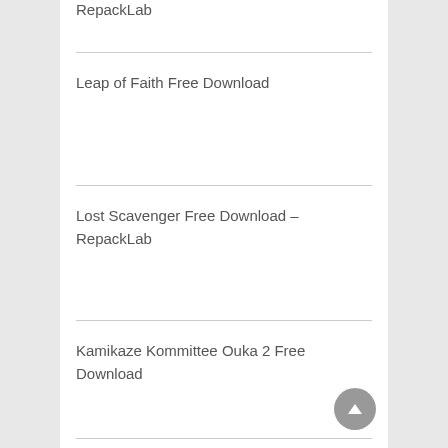RepackLab
Leap of Faith Free Download
Lost Scavenger Free Download – RepackLab
Kamikaze Kommittee Ouka 2 Free Download